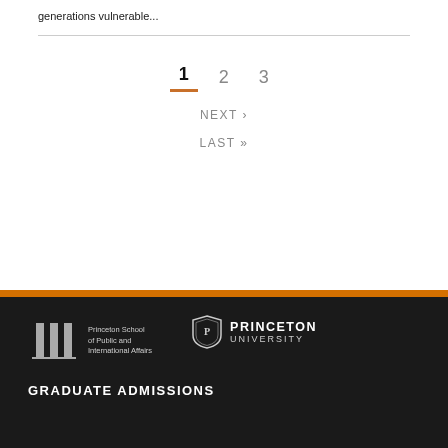generations vulnerable...
1  2  3
NEXT ›
LAST »
[Figure (logo): Princeton School of Public and International Affairs logo with three columns icon and text]
[Figure (logo): Princeton University shield logo with PRINCETON UNIVERSITY text]
GRADUATE ADMISSIONS